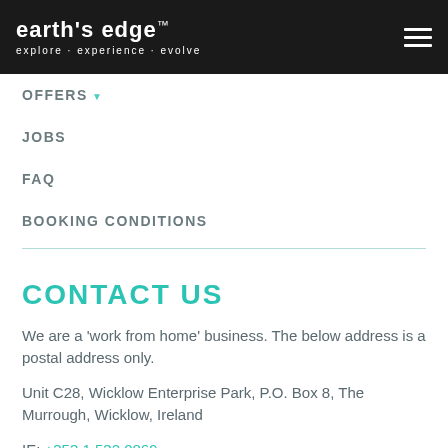EARTH'S EDGE™ explore · experience · evolve
OFFERS ▼
JOBS
FAQ
BOOKING CONDITIONS
CONTACT US
We are a 'work from home' business. The below address is a postal address only.
Unit C28, Wicklow Enterprise Park, P.O. Box 8, The Murrough, Wicklow, Ireland
IE: +353 1 532 0869
UK: +44 1 905 57 0391